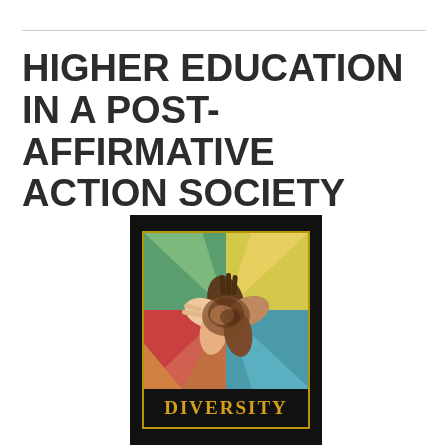HIGHER EDUCATION IN A POST-AFFIRMATIVE ACTION SOCIETY
[Figure (illustration): Book cover showing diverse hands joined together in the center with colorful background segments (green, yellow, red, teal, orange), with the word DIVERSITY in gold letters on a black bar at the bottom, framed by a gold border on a black background.]